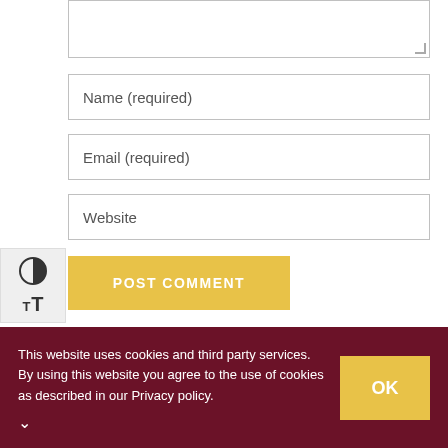[Figure (screenshot): Partial textarea input field at top of page with resize handle in bottom-right corner]
Name (required)
Email (required)
Website
[Figure (other): POST COMMENT button in yellow/gold color]
[Figure (other): Accessibility widget on left side with contrast toggle and text size toggle icons]
This site uses Akismet to reduce spam. Learn how your comment data is processed.
This website uses cookies and third party services. By using this website you agree to the use of cookies as described in our Privacy policy.
[Figure (other): OK button in yellow/gold color inside dark red cookie consent banner]